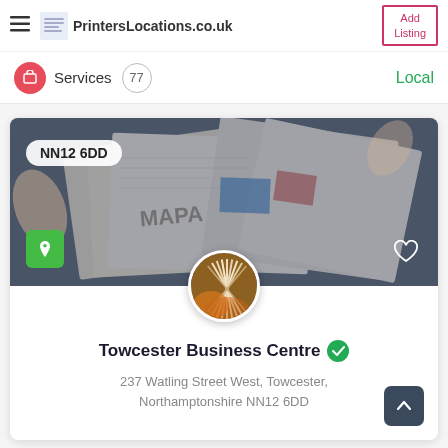PrintersLocations.co.uk | Add Listing
Services 77 Local
[Figure (screenshot): Hero image of printed materials and magazines being reviewed, with postcode badge NN12 6DD, green map pin button, and heart icon overlay]
[Figure (photo): Circular avatar photo of printed book pages fanned out, overlapping the hero image]
Towcester Business Centre
237 Watling Street West, Towcester, Northamptonshire NN12 6DD